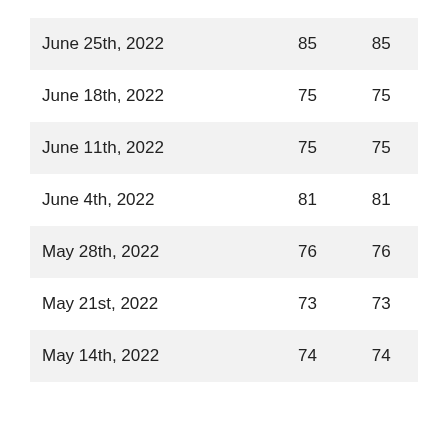| June 25th, 2022 | 85 | 85 |
| June 18th, 2022 | 75 | 75 |
| June 11th, 2022 | 75 | 75 |
| June 4th, 2022 | 81 | 81 |
| May 28th, 2022 | 76 | 76 |
| May 21st, 2022 | 73 | 73 |
| May 14th, 2022 | 74 | 74 |